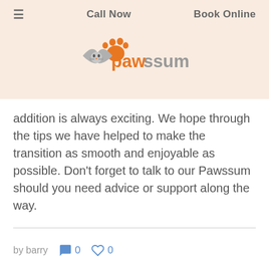≡   Call Now   Book Online
[Figure (logo): Pawssum logo with orange paw print and grey cat/heart graphic, orange and grey text reading 'pawssum']
addition is always exciting. We hope through the tips we have helped to make the transition as smooth and enjoyable as possible. Don't forget to talk to our Pawssum  should you need advice or support along the way.
by barry  💬0  ♡0